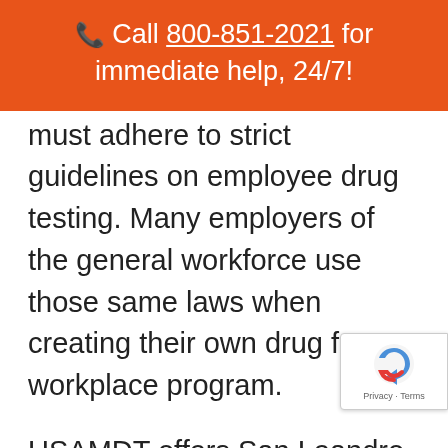📞 Call 800-851-2021 for immediate help, 24/7!
must adhere to strict guidelines on employee drug testing. Many employers of the general workforce use those same laws when creating their own drug free workplace program.
USAMDT offers San Leandro businesses a program that tailors y our drug testing policies to meet your